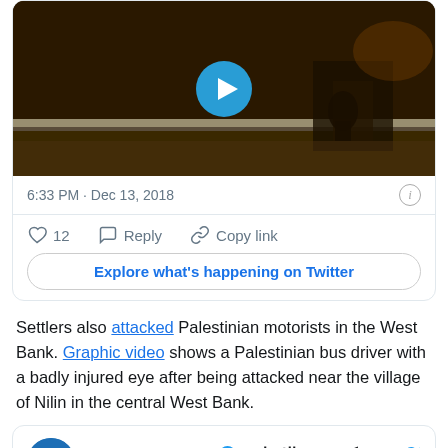[Figure (screenshot): Twitter/X embedded tweet screenshot showing a dark video thumbnail with a play button, timestamp '6:33 PM · Dec 13, 2018', info icon, like count of 12, Reply button, Copy link button, and 'Explore what's happening on Twitter' button.]
Settlers also attacked Palestinian motorists in the West Bank. Graphic video shows a Palestinian bus driver with a badly injured eye after being attacked near the village of Nilin in the central West Bank.
[Figure (screenshot): Twitter/X tweet card showing account شبكة قدس الإخبارية with handle @qudsn and Follow link, with verified badge and Twitter bird logo.]